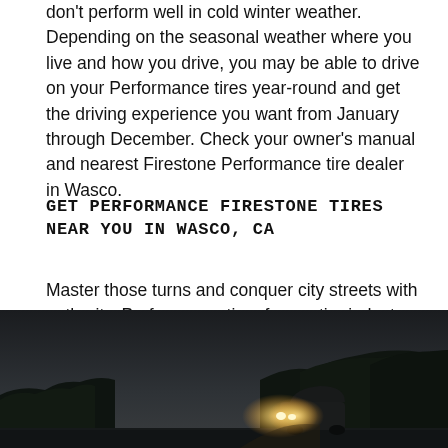don't perform well in cold winter weather. Depending on the seasonal weather where you live and how you drive, you may be able to drive on your Performance tires year-round and get the driving experience you want from January through December. Check your owner's manual and nearest Firestone Performance tire dealer in Wasco.
GET PERFORMANCE FIRESTONE TIRES NEAR YOU IN WASCO, CA
Master those turns and conquer city streets with authority. Performance tires from a tire industry leader like Firestone can help fine-tune your driving experience. Locate your nearest Wasco tire dealer, and ask for Firestone's Summer and Performance tires, including Firestone Firehawk.
[Figure (photo): Nighttime road scene with a vehicle driving through a dark landscape with trees and hills in the background, headlights visible]